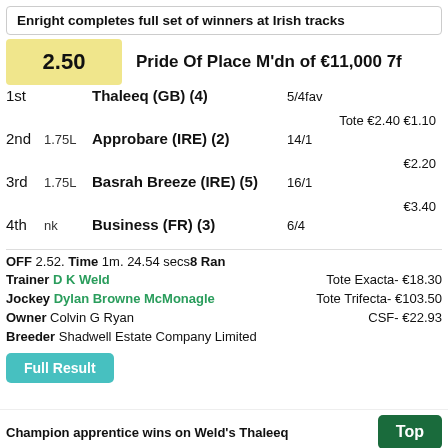Enright completes full set of winners at Irish tracks
2.50   Pride Of Place M'dn of €11,000 7f
1st   Thaleeq (GB) (4)   5/4fav   Tote €2.40 €1.10
2nd   1.75L   Approbare (IRE) (2)   14/1   €2.20
3rd   1.75L   Basrah Breeze (IRE) (5)   16/1   €3.40
4th   nk   Business (FR) (3)   6/4
OFF 2.52. Time 1m. 24.54 secs8 Ran
Trainer D K Weld   Tote Exacta- €18.30
Jockey Dylan Browne McMonagle   Tote Trifecta- €103.50
Owner Colvin G Ryan   CSF- €22.93
Breeder Shadwell Estate Company Limited
Full Result
Champion apprentice wins on Weld's Thaleeq